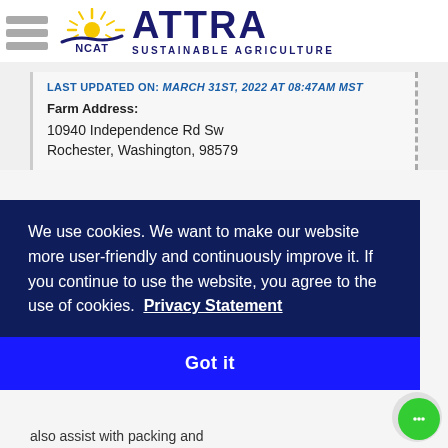[Figure (logo): NCAT/ATTRA Sustainable Agriculture logo with hamburger menu icon, sun graphic, NCAT text, and ATTRA SUSTAINABLE AGRICULTURE text in navy blue]
LAST UPDATED ON: MARCH 31ST, 2022 AT 08:47AM MST
Farm Address:
10940 Independence Rd Sw
Rochester, Washington, 98579
We use cookies. We want to make our website more user-friendly and continuously improve it. If you continue to use the website, you agree to the use of cookies.  Privacy Statement
Got it
also assist with packing and